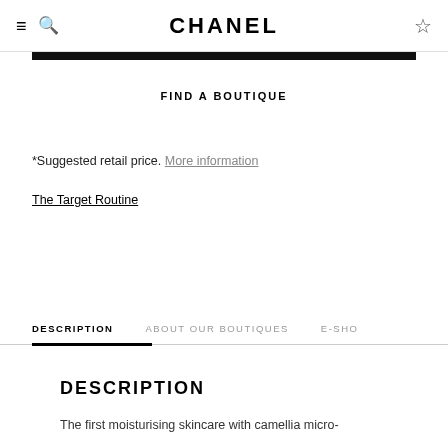CHANEL
FIND A BOUTIQUE
*Suggested retail price. More information
The Target Routine
DESCRIPTION | ABOUT OUR BOUTIQUES | E-SHO
DESCRIPTION
The first moisturising skincare with camellia micro-